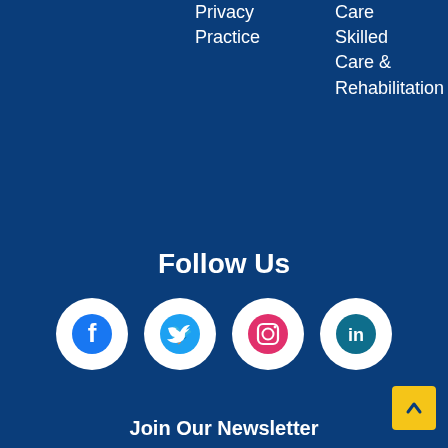Privacy Practice
Care Skilled Care & Rehabilitation
Follow Us
[Figure (infographic): Four social media icon circles: Facebook (blue), Twitter (light blue), Instagram (pink/red), LinkedIn (teal/dark blue)]
Join Our Newsletter